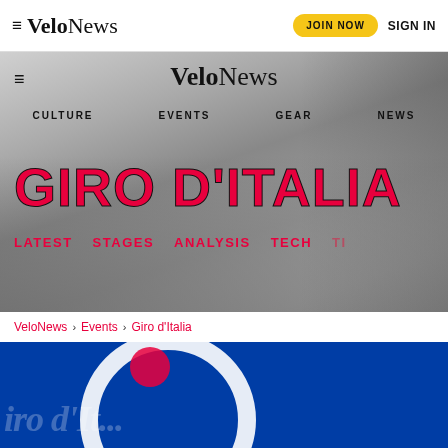≡ VeloNews   JOIN NOW   SIGN IN
[Figure (screenshot): VeloNews website hero section with cyclists racing in grayscale background, featuring the VeloNews logo, navigation menu (CULTURE, EVENTS, GEAR, NEWS), and large 'GIRO D'ITALIA' heading in pink/red text]
GIRO D'ITALIA
LATEST   STAGES   ANALYSIS   TECH   TI
VeloNews > Events > Giro d'Italia
[Figure (photo): Bottom portion showing blue Giro d'Italia banner with partial logo text visible]